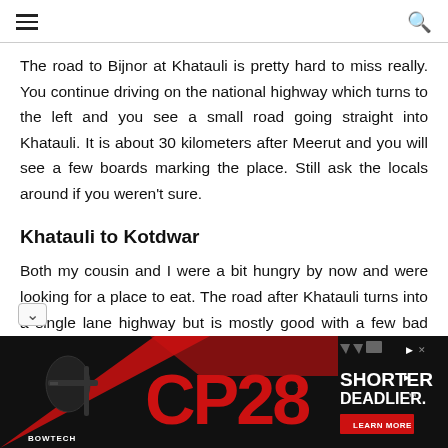☰  🔍
The road to Bijnor at Khatauli is pretty hard to miss really. You continue driving on the national highway which turns to the left and you see a small road going straight into Khatauli. It is about 30 kilometers after Meerut and you will see a few boards marking the place. Still ask the locals around if you weren't sure.
Khatauli to Kotdwar
Both my cousin and I were a bit hungry by now and were looking for a place to eat. The road after Khatauli turns into a single lane highway but is mostly good with a few bad spots in between. We drove for another 20 odd kilometers and arrived at Mirapur.
[Figure (other): Advertisement banner for Bowtech CP28 crossbow. Black background with red diagonal accent. Left side shows a crossbow silhouette with BOWTECH text. Center shows large red CP28 logo text. Right side shows text SHORTER. DEADLIER with a red LEARN MORE button and small ad icons.]